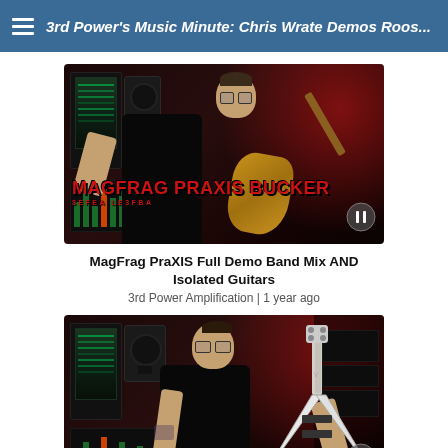3rd Power's Music Minute: Chris Wrate Demos Roos...
[Figure (screenshot): Video thumbnail showing a person playing acoustic guitar in a dark studio with red ambient lighting. Red text overlay reads 'MAGFRAG PRAXIS BUCKER' with smaller text below. A play/pause icon appears bottom right.]
MagFrag PraXIS Full Demo Band Mix AND Isolated Guitars
3rd Power Amplification | 1 year ago
[Figure (screenshot): Second video thumbnail showing a person playing a white flying V-style electric guitar in the same dark studio with red ambient lighting. A play/pause icon appears bottom right.]